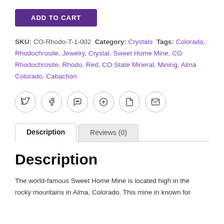[Figure (other): Purple 'ADD TO CART' button]
SKU: CO-Rhodo-T-1-002 Category: Crystals Tags: Colorado, Rhodochrosite, Jewelry, Crystal, Sweet Home Mine, CO Rhodochrosite, Rhodo, Red, CO State Mineral, Mining, Alma Colorado, Cabachon
[Figure (other): Social sharing icons: Twitter, Facebook, Messenger, Pinterest, Tumblr, Email]
Description tab (active) | Reviews (0) tab
Description
The world-famous Sweet Home Mine is located high in the rocky mountains in Alma, Colorado. This mine in known for